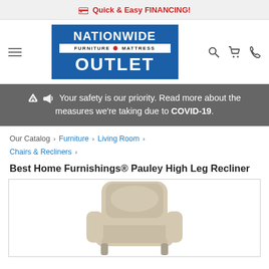Quick & Easy FINANCING!
[Figure (logo): Nationwide Furniture Mattress Outlet logo — blue box with white text]
Your safety is our priority. Read more about the measures we're taking due to COVID-19.
Our Catalog › Furniture › Living Room › Chairs & Recliners ›
Best Home Furnishings® Pauley High Leg Recliner
[Figure (photo): Beige/tan upholstered high leg recliner chair with pillow back, partially visible from front angle]